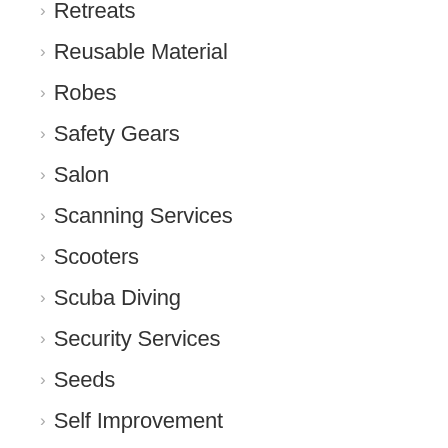Retreats
Reusable Material
Robes
Safety Gears
Salon
Scanning Services
Scooters
Scuba Diving
Security Services
Seeds
Self Improvement
Services
Shopping
Signage
Skin Care
Social Media
Software